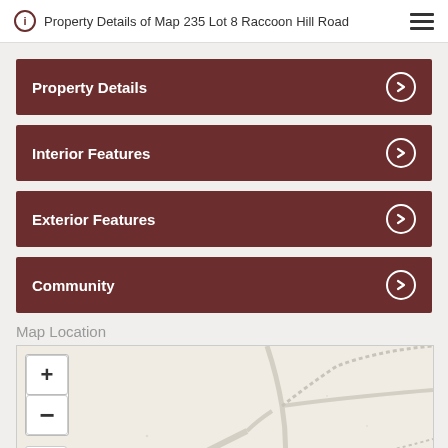Property Details of Map 235 Lot 8 Raccoon Hill Road
Property Details
Interior Features
Exterior Features
Community
Map Location
[Figure (map): Interactive map showing location of Map 235 Lot 8 Raccoon Hill Road, with zoom in/out controls and a fullscreen button. A yellow/green marker arrow is visible near the bottom center of the map. The map shows roads and terrain in a beige/off-white style.]